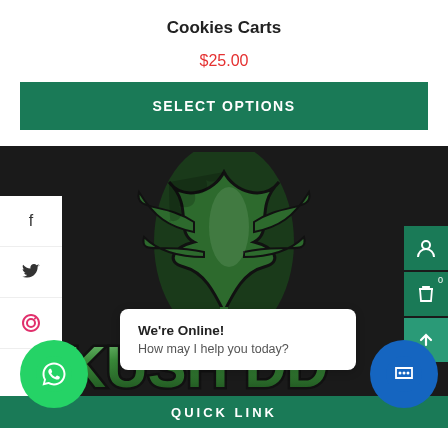Cookies Carts
$25.00
SELECT OPTIONS
[Figure (logo): Kush DD cannabis brand logo — large green cannabis leaf above stylized 3D green 'KUSH DD' text on dark background]
We're Online!
How may I help you today?
QUICK LINK